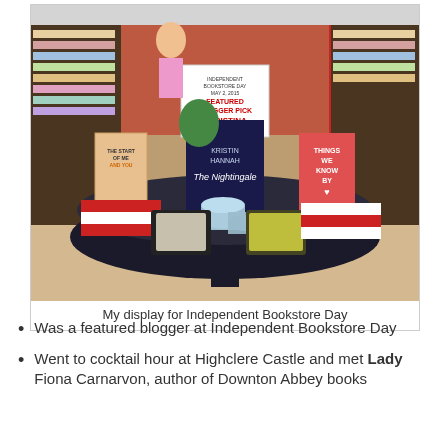[Figure (photo): A bookstore display table for Independent Bookstore Day featuring books including 'The Nightingale' by Kristin Hannah, 'The Start of Me and You', 'Things We Know By Heart', and other items like socks and jars. A sign in the center reads 'Independent Bookstore Day May 2, 2015 Featured Blogger Pick Christina'.]
My display for Independent Bookstore Day
Was a featured blogger at Independent Bookstore Day
Went to cocktail hour at Highclere Castle and met Lady Fiona Carnarvon, author of Downton Abbey books